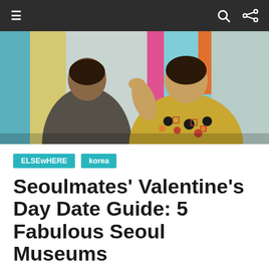≡  🔍  ⇌
[Figure (photo): Two people viewed from behind looking at colorful art on a wall in a museum. One person wears a grey top, the other a yellow floral patterned dress. The wall art includes bright pink, orange, and blue stripes.]
ELSEwHERE  korea
Seoulmates' Valentine's Day Date Guide: 5 Fabulous Seoul Museums
February 8, 2014   ELSEwHERE
Feeling intellectual?  There is no better place to get nerdy with the one you <3, this Valentine's day, then